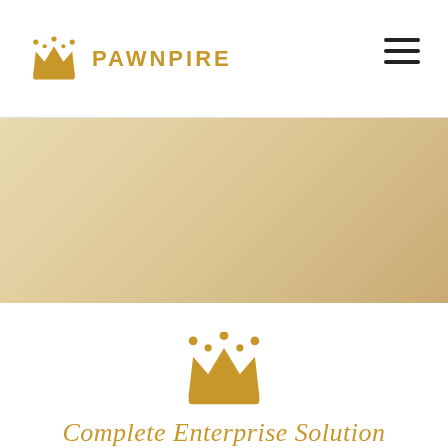PAWNPIRE
[Figure (illustration): Pawnpire brand logo: gold crown icon on the left, brand name PAWNPIRE in gold bold letters on the right]
[Figure (illustration): Golden/beige gradient hero banner occupying a horizontal strip]
[Figure (logo): Large gold crown icon centered on white background]
Complete Enterprise Solution